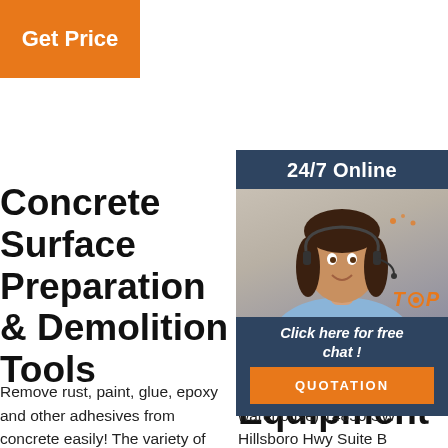[Figure (other): Orange 'Get Price' button in top left corner]
Concrete Surface Preparation & Demolition Tools
Remove rust, paint, glue, epoxy and other adhesives from concrete easily! The variety of concrete
Hort Tech Systems - Nursery Automation, Automation Equipment
Hort Tech Systems (office warehouse) 14850 SW Hillsboro Hwy Suite B Hillsboro OR 97123.
Co Im Bl Fo
War Wsb Blender,Light-Duty. 118.95. Free shipping. 2-Speed 44 Oz. Bar Blender 120V Waring Commercial BB155. 85.00.
[Figure (photo): Customer service representative woman with headset smiling, with 24/7 Online chat widget overlay showing dark blue panel, photo, 'Click here for free chat!' text, and orange QUOTATION button]